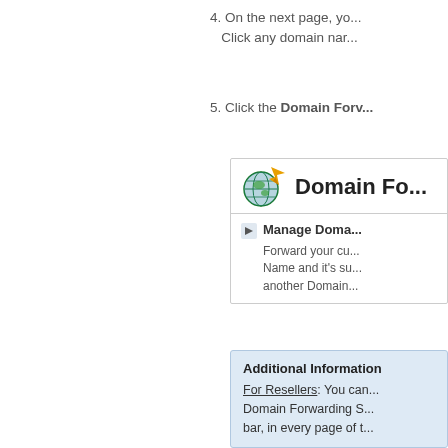4. On the next page, yo... Click any domain nar...
5. Click the Domain Forw...
[Figure (screenshot): Domain Forwarding panel header with globe/arrow icon and title 'Domain Fo...' followed by a 'Manage Doma...' section with description 'Forward your cu... Name and it's su... another Domain...']
Additional Information
For Resellers: You can... Domain Forwarding S... bar, in every page of t...